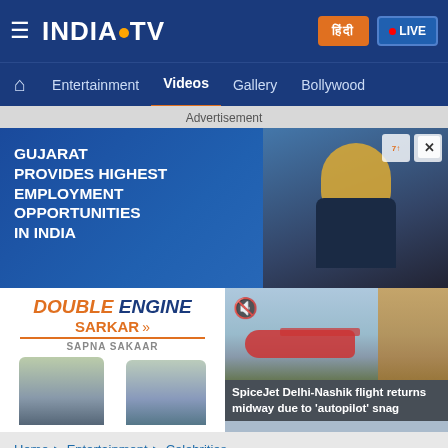India TV - hamburger menu, logo, Hindi button, LIVE button
Navigation: Home | Entertainment | Videos | Gallery | Bollywood
Advertisement
[Figure (photo): Gujarat ad: GUJARAT PROVIDES HIGHEST EMPLOYMENT OPPORTUNITIES IN INDIA with worker in hard hat]
[Figure (photo): DOUBLE ENGINE SARKAR - SAPNA SAKAAR ad with politicians]
[Figure (photo): SpiceJet Delhi-Nashik flight returns midway due to 'autopilot' snag - video thumbnail]
Home ▶ Entertainment ▶ Celebrities
Salman Khan comes to the rescue